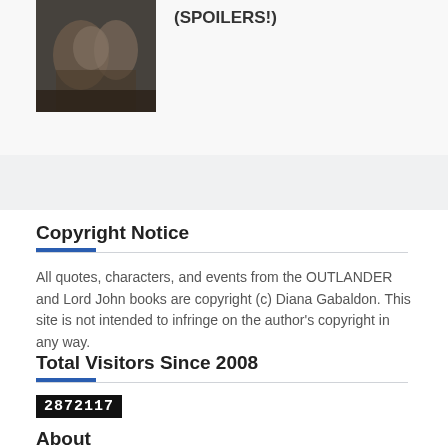[Figure (photo): Small thumbnail photo showing a person or scene, appears dark/moody]
(SPOILERS!)
Copyright Notice
All quotes, characters, and events from the OUTLANDER and Lord John books are copyright (c) Diana Gabaldon. This site is not intended to infringe on the author's copyright in any way.
Total Visitors Since 2008
2872117
About